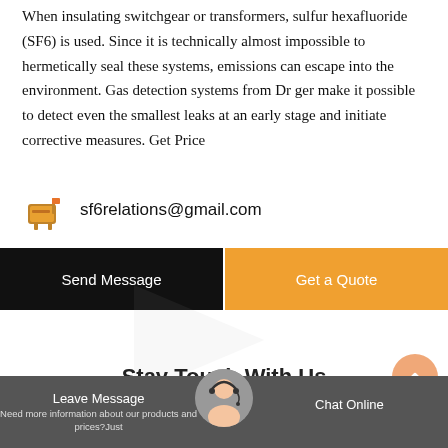When insulating switchgear or transformers, sulfur hexafluoride (SF6) is used. Since it is technically almost impossible to hermetically seal these systems, emissions can escape into the environment. Gas detection systems from Dr ger make it possible to detect even the smallest leaks at an early stage and initiate corrective measures. Get Price
sf6relations@gmail.com
Send Message
Get a Quote
Stay Touch With Us
Leave Message  Chat Online  Need more information about our products and prices?Just